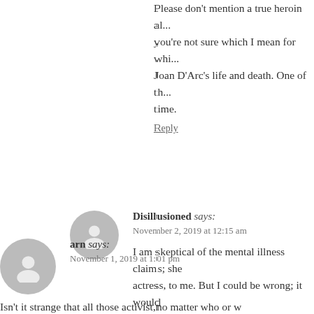Please don't mention a true heroin alongside... you're not sure which I mean for which... Joan D'Arc's life and death. One of th... time.
Reply
Disillusioned says: November 2, 2019 at 12:15 am
I am skeptical of the mental illness claims; she actress, to me. But I could be wrong; it would masters would take an emotional cripple on su
Reply
arn says: November 1, 2019 at 1:01 pm
Isn't it strange that all those activist,no matter who or w